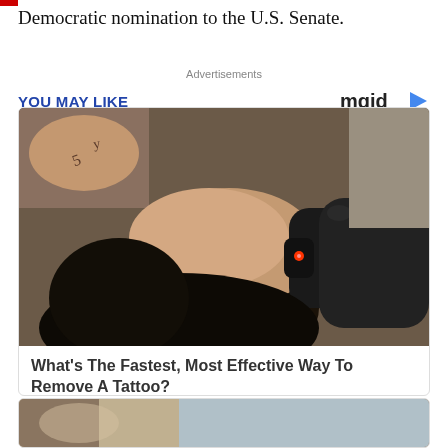Democratic nomination to the U.S. Senate.
Advertisements
YOU MAY LIKE
[Figure (logo): mgid logo with play button icon]
[Figure (photo): Person lying down receiving laser tattoo removal treatment. A gloved hand holds a laser device emitting red light against the person's face/neck area. The person has dark hair and visible tattoos on their hands.]
What's The Fastest, Most Effective Way To Remove A Tattoo?
Brainberries
[Figure (photo): Partial view of a second advertisement card at the bottom of the page]